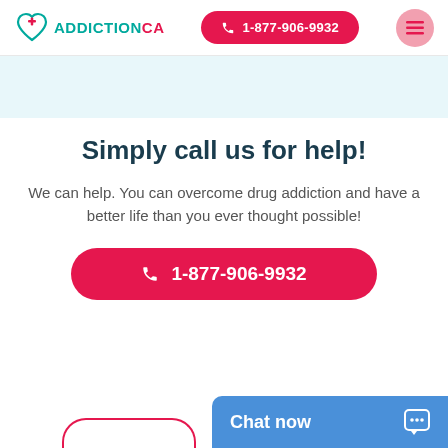ADDICTIONCA  ☎ 1-877-906-9932
Simply call us for help!
We can help. You can overcome drug addiction and have a better life than you ever thought possible!
☎ 1-877-906-9932
Chat now